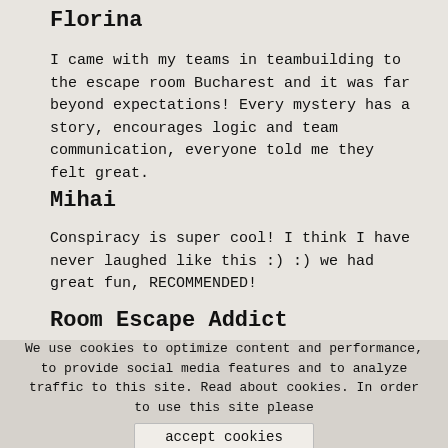Florina
I came with my teams in teambuilding to the escape room Bucharest and it was far beyond expectations! Every mystery has a story, encourages logic and team communication, everyone told me they felt great.
Mihai
Conspiracy is super cool! I think I have never laughed like this :) :) we had great fun, RECOMMENDED!
Room Escape Addict
We use cookies to optimize content and performance, to provide social media features and to analyze traffic to this site. Read about cookies. In order to use this site please
accept cookies